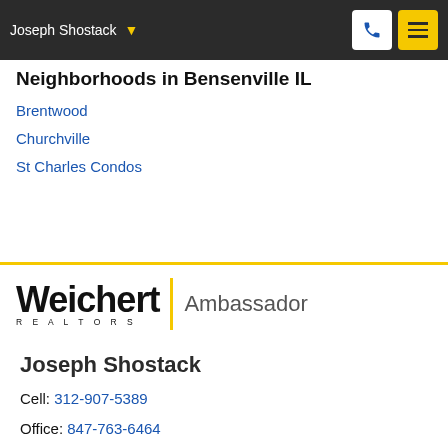Joseph Shostack
Neighborhoods in Bensenville IL
Brentwood
Churchville
St Charles Condos
[Figure (logo): Weichert Realtors Ambassador logo]
Joseph Shostack
Cell: 312-907-5389
Office: 847-763-6464